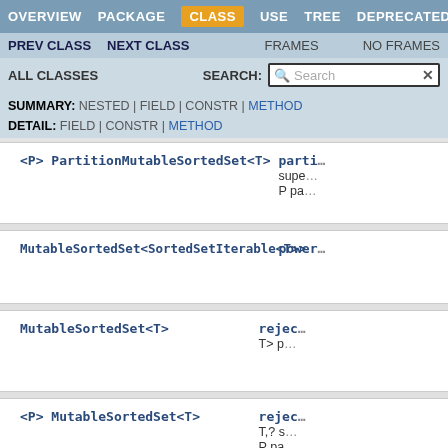OVERVIEW  PACKAGE  CLASS  USE  TREE  DEPRECATED
PREV CLASS  NEXT CLASS  FRAMES  NO FRAMES
ALL CLASSES  SEARCH:
SUMMARY: NESTED | FIELD | CONSTR | METHOD
DETAIL: FIELD | CONSTR | METHOD
<P> PartitionMutableSortedSet<T>
parti... super... P pa...
MutableSortedSet<SortedSetIterable<T>>
power...
MutableSortedSet<T>
rejec... T> p...
<P> MutableSortedSet<T>
rejec... T,? s... P pa...